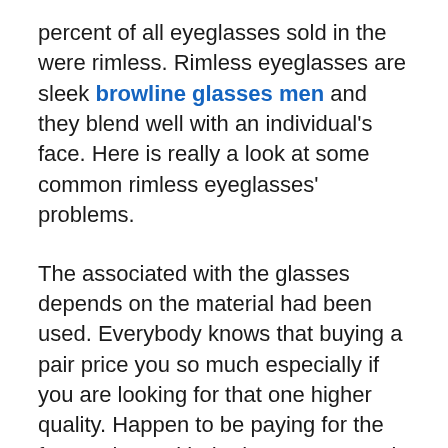percent of all eyeglasses sold in the were rimless. Rimless eyeglasses are sleek browline glasses men and they blend well with an individual's face. Here is really a look at some common rimless eyeglasses' problems.
The associated with the glasses depends on the material had been used. Everybody knows that buying a pair price you so much especially if you are looking for that one higher quality. Happen to be paying for the frame along with the lenses present in your partner. But there are now glasses available are generally very affordable. Plastic-made frames are much less expensive other assets. They are also stylish and lightweight weight. The weight of the glasses helps